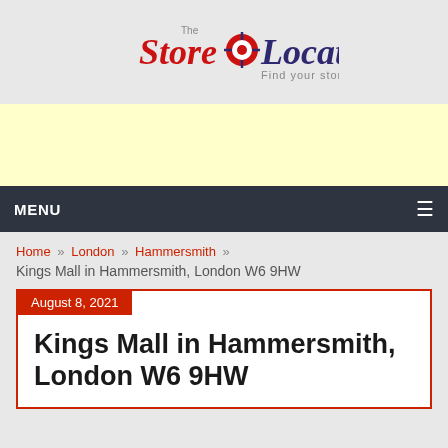[Figure (logo): The Store Locator logo — red cursive 'Store' text, dark navy 'Locator' text, crosshair/target icon in center, tagline 'Find your store' below]
[Figure (other): Yellow advertisement banner placeholder]
MENU
Home » London » Hammersmith »
Kings Mall in Hammersmith, London W6 9HW
August 8, 2021
Kings Mall in Hammersmith, London W6 9HW